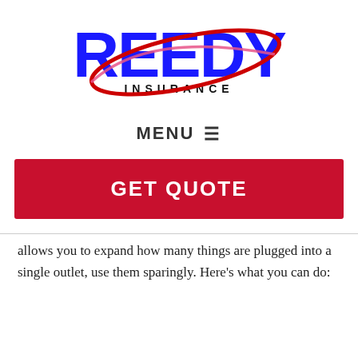[Figure (logo): Reedy Insurance logo with large blue bold letters 'REEDY', text 'INSURANCE' below in dark letters, overlaid with a red and pink elliptical swoosh graphic]
MENU ☰
GET QUOTE
allows you to expand how many things are plugged into a single outlet, use them sparingly. Here's what you can do: